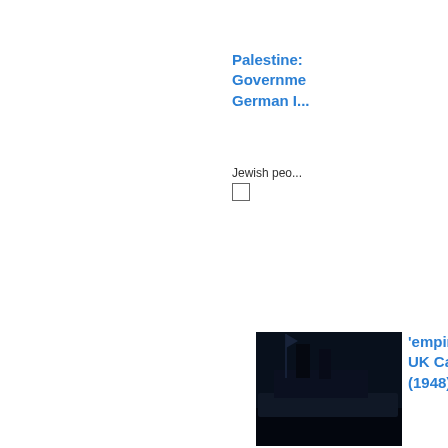Palestine: Governme German I...
Jewish peo...
[Figure (photo): Dark photograph of a ship, likely the Empire Windrush, photographed at dock]
'empire W UK Carryi (1948)
The Empire...
Uk: Tighte Against C Immigran...
BRITAIN TO...
U.K.: Colo Demonstr Police Ha...
Scores of...